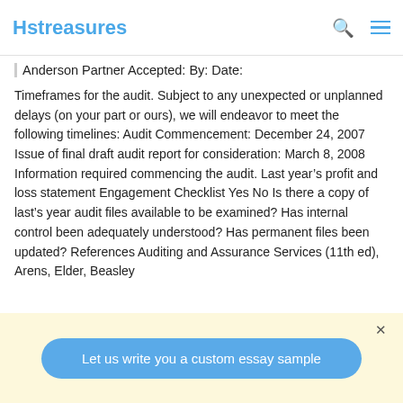Hstreasures
Anderson Partner Accepted: By: Date:
Timeframes for the audit. Subject to any unexpected or unplanned delays (on your part or ours), we will endeavor to meet the following timelines: Audit Commencement: December 24, 2007 Issue of final draft audit report for consideration: March 8, 2008 Information required commencing the audit. Last year’s profit and loss statement Engagement Checklist Yes No Is there a copy of last’s year audit files available to be examined? Has internal control been adequately understood? Has permanent files been updated? References Auditing and Assurance Services (11th ed), Arens, Elder, Beasley
Let us write you a custom essay sample